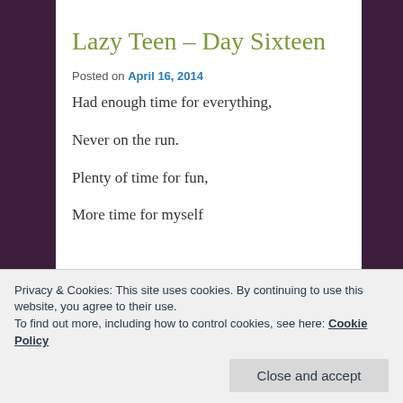Lazy Teen – Day Sixteen
Posted on April 16, 2014
Had enough time for everything,
Never on the run.
Plenty of time for fun,
More time for myself
Privacy & Cookies: This site uses cookies. By continuing to use this website, you agree to their use.
To find out more, including how to control cookies, see here: Cookie Policy
Close and accept
Selfish with my time...